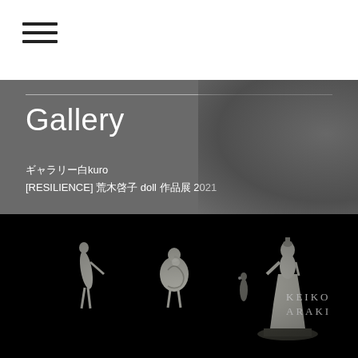☰ (hamburger menu icon)
Gallery
ギャラリー白kuro
[RESILIENCE] 荒木啓子 doll 作品展 2021
[Figure (photo): Dark gallery exhibition photograph showing illuminated doll sculptures on a black background. Three doll figures are visible on the left and center, and one larger figure on the right on a platform. Text 'KEIKO ARAKI' is visible on the right side of the image.]